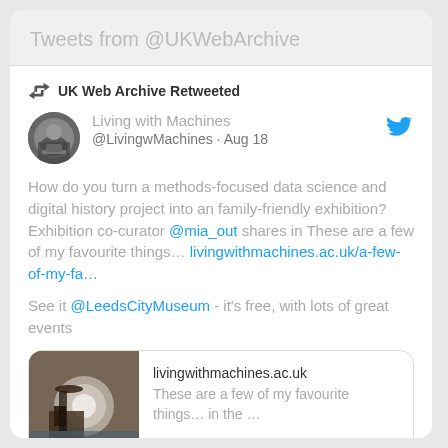Tweets from @UKWebArchive
UK Web Archive Retweeted
Living with Machines @LivingwMachines · Aug 18
How do you turn a methods-focused data science and digital history project into an family-friendly exhibition? Exhibition co-curator @mia_out shares in These are a few of my favourite things… livingwithmachines.ac.uk/a-few-of-my-fa…
See it @LeedsCityMuseum - it's free, with lots of great events
[Figure (screenshot): A thumbnail image of a sewing machine in a room, dark tones]
livingwithmachines.ac.uk These are a few of my favourite things… in the …